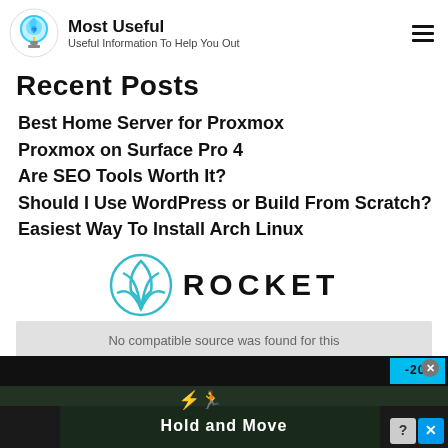Most Useful — Useful Information To Help You Out
Recent Posts
Best Home Server for Proxmox
Proxmox on Surface Pro 4
Are SEO Tools Worth It?
Should I Use WordPress or Build From Scratch?
Easiest Way To Install Arch Linux
[Figure (logo): Rocket logo with rocket icon and text ROCKET]
No compatible source was found for this
[Figure (screenshot): Ad banner showing Hold and Move game with scoreboard and winter scene background]